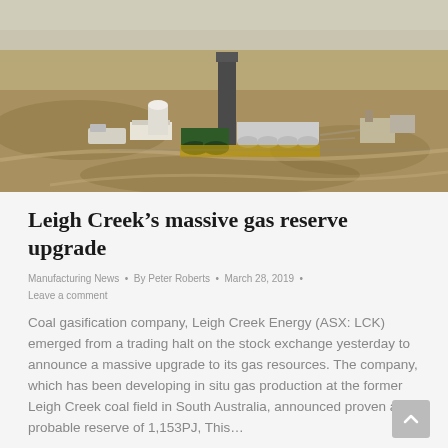[Figure (photo): Aerial view of an industrial gas/coal field facility in an arid landscape, showing storage tanks, equipment, and infrastructure at the Leigh Creek coal field site.]
Leigh Creek’s massive gas reserve upgrade
Manufacturing News • By Peter Roberts • March 28, 2019 • Leave a comment
Coal gasification company, Leigh Creek Energy (ASX: LCK) emerged from a trading halt on the stock exchange yesterday to announce a massive upgrade to its gas resources. The company, which has been developing in situ gas production at the former Leigh Creek coal field in South Australia, announced proven and probable reserve of 1,153PJ, This…